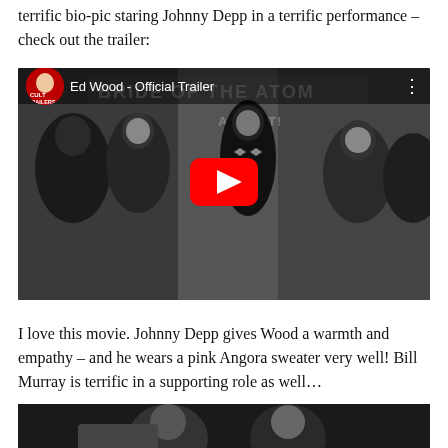terrific bio-pic staring Johnny Depp in a terrific performance – check out the trailer:
[Figure (screenshot): YouTube video embed thumbnail showing 'Ed Wood - Official Trailer' from Cult Trailers channel. Black and white film scene with people in formal wear, red YouTube play button overlay in center.]
I love this movie. Johnny Depp gives Wood a warmth and empathy – and he wears a pink Angora sweater very well! Bill Murray is terrific in a supporting role as well…
[Figure (photo): Black and white photo at bottom of page, partially visible, appears to show people from the film.]